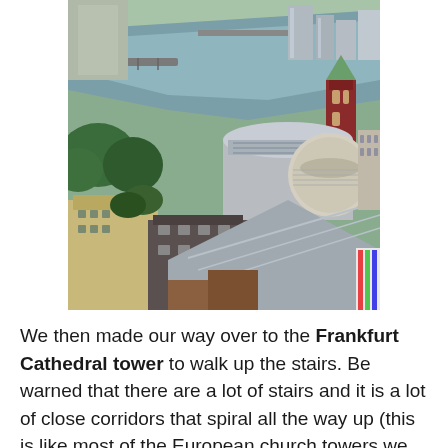[Figure (photo): Aerial view of Frankfurt city from the Frankfurt Cathedral tower, showing the Main River with bridges, city buildings, red-brick church tower, a circular modern building, and treetops. Urban and river landscape in summer.]
We then made our way over to the Frankfurt Cathedral tower to walk up the stairs. Be warned that there are a lot of stairs and it is a lot of close corridors that spiral all the way up (this is like most of the European church towers we have walked